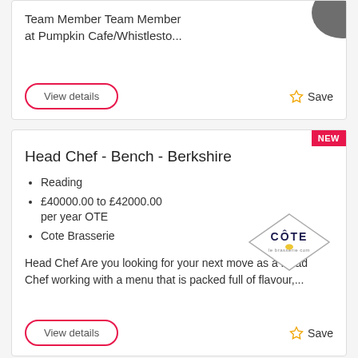Team Member Team Member at Pumpkin Cafe/Whistlesto...
View details
Save
NEW
Head Chef - Bench - Berkshire
Reading
£40000.00 to £42000.00 per year OTE
Cote Brasserie
[Figure (logo): Cote Brasserie diamond-shaped logo with CÔTE text]
Head Chef Are you looking for your next move as a Head Chef working with a menu that is packed full of flavour,...
View details
Save